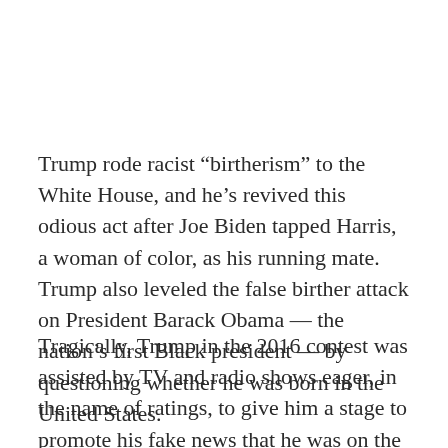Trump rode racist “birtherism” to the White House, and he’s revived this odious act after Joe Biden tapped Harris, a woman of color, as his running mate. Trump also leveled the false birther attack on President Barack Obama — the nation’s first Black president — by questioning whether he was born in the United States.
Tragically, Trump in the 2016 contest was assisted by TV and radio shows eager, in the name of ratings, to give him a stage to promote his fake news that he was on the verge of proving Obama was not born in Hawaii